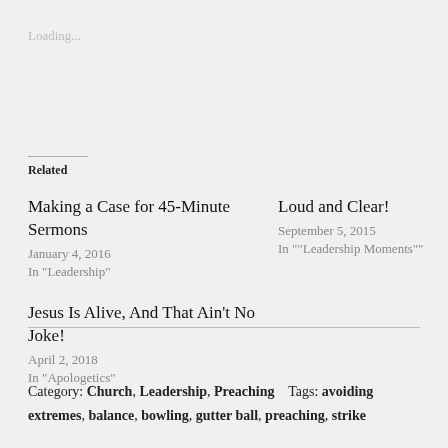Loading...
Related
Making a Case for 45-Minute Sermons
January 4, 2016
In "Leadership"
Loud and Clear!
September 5, 2015
In ""Leadership Moments""
Jesus Is Alive, And That Ain't No Joke!
April 2, 2018
In "Apologetics"
Category: Church, Leadership, Preaching   Tags: avoiding extremes, balance, bowling, gutter ball, preaching, strike